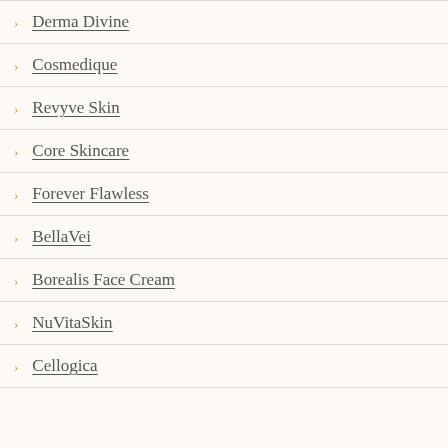Derma Divine
Cosmedique
Revyve Skin
Core Skincare
Forever Flawless
BellaVei
Borealis Face Cream
NuVitaSkin
Cellogica